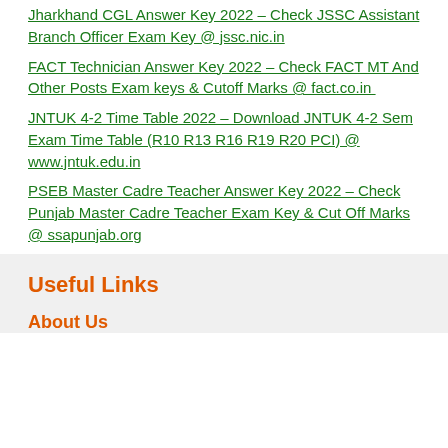Jharkhand CGL Answer Key 2022 – Check JSSC Assistant Branch Officer Exam Key @ jssc.nic.in
FACT Technician Answer Key 2022 – Check FACT MT And Other Posts Exam keys & Cutoff Marks @ fact.co.in
JNTUK 4-2 Time Table 2022 – Download JNTUK 4-2 Sem Exam Time Table (R10 R13 R16 R19 R20 PCI) @ www.jntuk.edu.in
PSEB Master Cadre Teacher Answer Key 2022 – Check Punjab Master Cadre Teacher Exam Key & Cut Off Marks @ ssapunjab.org
Useful Links
About Us